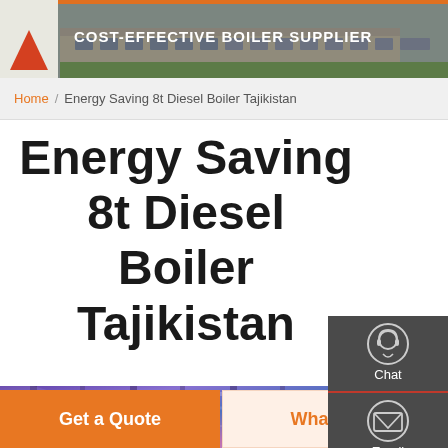[Figure (photo): Header banner showing a building exterior with 'COST-EFFECTIVE BOILER SUPPLIER' text and a triangular logo on the left]
Home / Energy Saving 8t Diesel Boiler Tajikistan
Energy Saving 8t Diesel Boiler Tajikistan
[Figure (illustration): Sidebar widget panel with Chat, Email, and Contact icons on dark grey background]
[Figure (photo): Industrial ceiling interior with purple-lit pipes and structural beams]
Get a Quote
WhatsApp